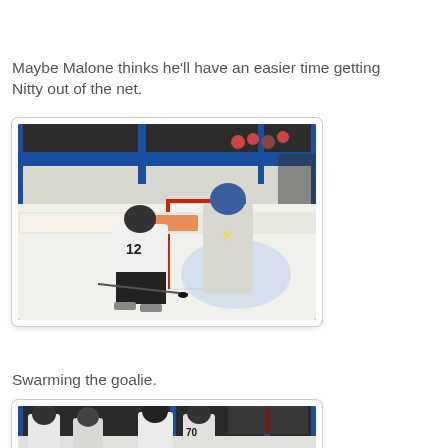Maybe Malone thinks he'll have an easier time getting Nitty out of the net.
[Figure (photo): Hockey players near a goal net on an ice rink, with MetroPCS and Chick-fil-A advertising boards visible in the background. Player #12 in white Tampa Bay Lightning jersey near the net with a goaltender behind.]
Swarming the goalie.
[Figure (photo): Multiple hockey players in white jerseys crowding near the goal area on ice, with blue arena boards visible in the background.]